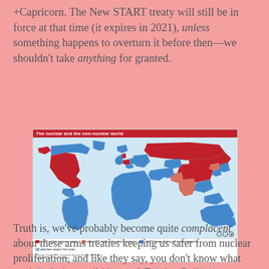+Capricorn. The New START treaty will still be in force at that time (it expires in 2021), unless something happens to overturn it before then—we shouldn't take anything for granted.
[Figure (map): World map titled 'The nuclear and the non-nuclear world' showing countries colored by nuclear status: NPT nuclear weapons states (red), Non-NPT states with nuclear weapons (salmon/pink), NATO states sharing US nuclear weapons (blue-teal), and Nuclear weapon free zones (blue). Legend and source attribution at bottom.]
Nuclear weaponry and power is far from a two-sided issue.
Truth is, we've probably become quite complacent about these arms treaties keeping us safer from nuclear proliferation, and like they say, you don't know what you're missing until it's gone! Foreign Policy contributor Sarah